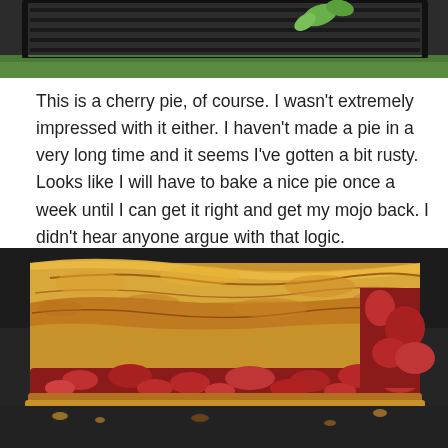[Figure (photo): Partial top image showing a dark grilling/cooking tray with green vegetable on grass background]
This is a cherry pie, of course. I wasn't extremely impressed with it either. I haven't made a pie in a very long time and it seems I've gotten a bit rusty. Looks like I will have to bake a nice pie once a week until I can get it right and get my mojo back. I didn't hear anyone argue with that logic.
[Figure (photo): Close-up photo of a slice of cherry pie with golden flaky crust on top and dark cherry filling visible, placed on a dark surface]